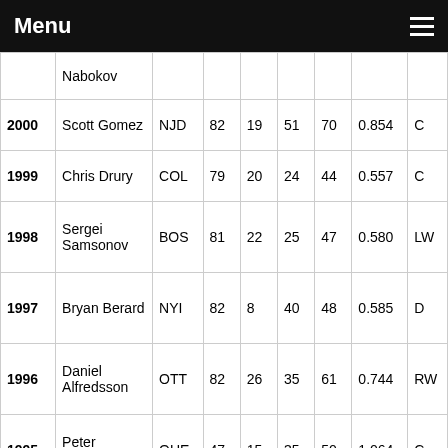Menu
| Year | Name | Team | GP | G | A | Pts | P/GP | Pos |
| --- | --- | --- | --- | --- | --- | --- | --- | --- |
|  | Nabokov |  |  |  |  |  |  |  |
| 2000 | Scott Gomez | NJD | 82 | 19 | 51 | 70 | 0.854 | C |
| 1999 | Chris Drury | COL | 79 | 20 | 24 | 44 | 0.557 | C |
| 1998 | Sergei Samsonov | BOS | 81 | 22 | 25 | 47 | 0.580 | LW |
| 1997 | Bryan Berard | NYI | 82 | 8 | 40 | 48 | 0.585 | D |
| 1996 | Daniel Alfredsson | OTT | 82 | 26 | 35 | 61 | 0.744 | RW |
| 1995 | Peter Forsberg | QUE | 47 | 15 | 35 | 50 | 1.064 | C |
| 1994 | Martin Brodeur | NJD | 47 | 0 | 0 | 0 | 0.000 | G |